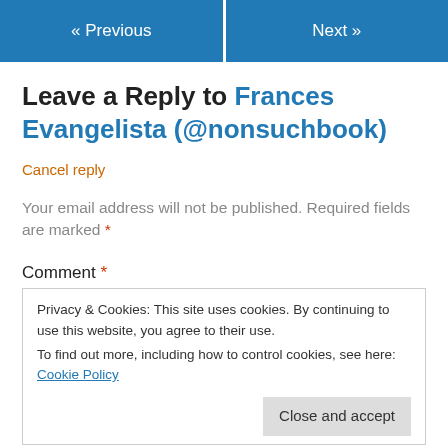« Previous    Next »
Leave a Reply to Frances Evangelista (@nonsuchbook)
Cancel reply
Your email address will not be published. Required fields are marked *
Comment *
Privacy & Cookies: This site uses cookies. By continuing to use this website, you agree to their use.
To find out more, including how to control cookies, see here: Cookie Policy
Close and accept